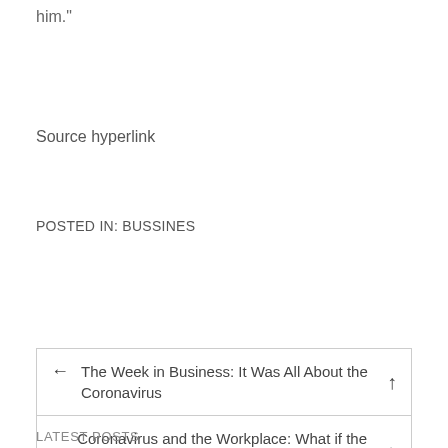him."
Source hyperlink
POSTED IN: BUSSINES
| ← The Week in Business: It Was All About the Coronavirus | ↑ |
| Coronavirus and the Workplace: What if the Boss Says Stay Home? | → |
LATEST POSTS